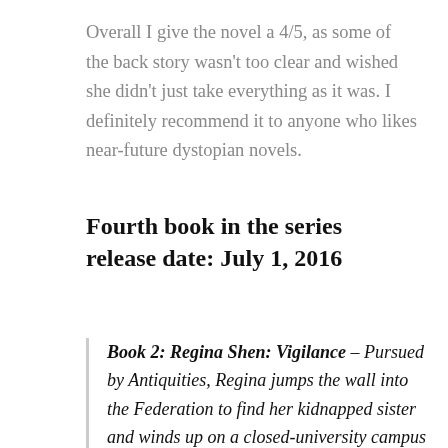Overall I give the novel a 4/5, as some of the back story wasn't too clear and wished she didn't just take everything as it was. I definitely recommend it to anyone who likes near-future dystopian novels.
Fourth book in the series release date: July 1, 2016
Book 2: Regina Shen: Vigilance – Pursued by Antiquities, Regina jumps the wall into the Federation to find her kidnapped sister and winds up on a closed-university campus with heavy security. Regina must use her wits to